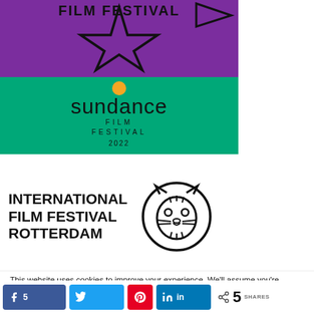[Figure (logo): Film Festival logo on purple background with star outline]
[Figure (logo): Sundance Film Festival 2022 logo on teal/green background with orange circle sun]
[Figure (logo): International Film Festival Rotterdam logo with tiger head icon]
This website uses cookies to improve your experience. We'll assume you're ok with this, but you can opt-out if you wish. Cookie
5  SHARES